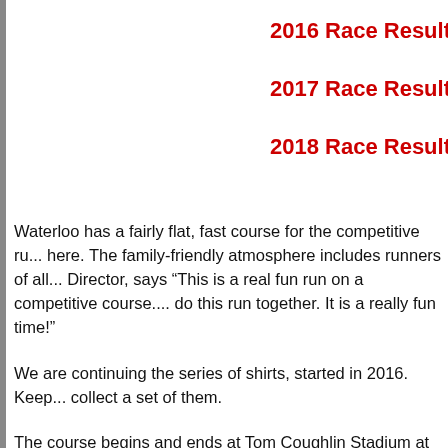2016 Race Results
2017 Race Results
2018 Race Results
Waterloo has a fairly flat, fast course for the competitive ru... here. The family-friendly atmosphere includes runners of all... Director, says “This is a real fun run on a competitive course.... do this run together. It is a really fun time!”
We are continuing the series of shirts, started in 2016.  Keep... collect a set of them.
The course begins and ends at Tom Coughlin Stadium at Wat... said the course will go through historic Waterloo and will no... Street. Runners will pass historic cemeteries, St Mary’s Chur... Ave. and is fairly flat. Daeffler said.